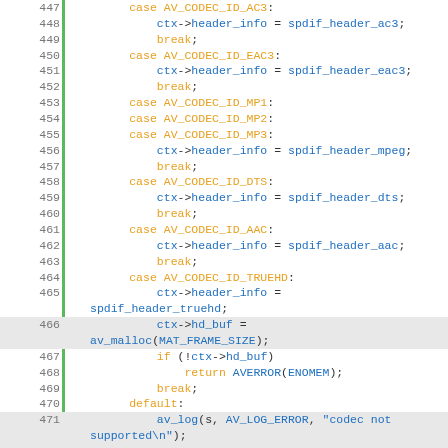[Figure (screenshot): Source code listing showing a C switch statement with codec ID cases (AV_CODEC_ID_AC3, EAC3, MP1, MP2, MP3, DTS, AAC, TRUEHD, default) and a static int function declaration at line 477. Line numbers 447-477 displayed with green gutter bar, syntax highlighting in orange for keywords and blue for identifiers.]